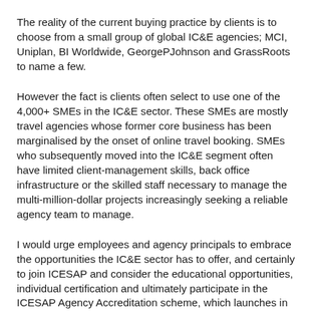The reality of the current buying practice by clients is to choose from a small group of global IC&E agencies; MCI, Uniplan, BI Worldwide, GeorgePJohnson and GrassRoots to name a few.
However the fact is clients often select to use one of the 4,000+ SMEs in the IC&E sector. These SMEs are mostly travel agencies whose former core business has been marginalised by the onset of online travel booking. SMEs who subsequently moved into the IC&E segment often have limited client-management skills, back office infrastructure or the skilled staff necessary to manage the multi-million-dollar projects increasingly seeking a reliable agency team to manage.
I would urge employees and agency principals to embrace the opportunities the IC&E sector has to offer, and certainly to join ICESAP and consider the educational opportunities, individual certification and ultimately participate in the ICESAP Agency Accreditation scheme, which launches in